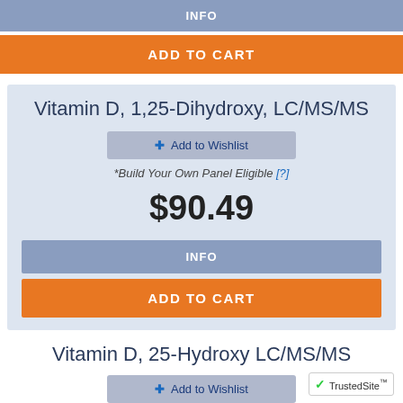INFO
ADD TO CART
Vitamin D, 1,25-Dihydroxy, LC/MS/MS
Add to Wishlist
*Build Your Own Panel Eligible [?]
$90.49
INFO
ADD TO CART
Vitamin D, 25-Hydroxy LC/MS/MS
Add to Wishlist
*Build Your Own Panel Eligible [?]
$69.99
TrustedSite